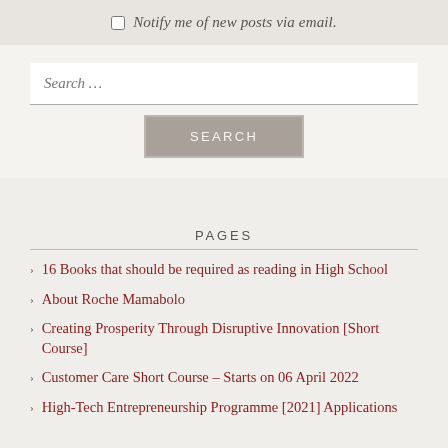Notify me of new posts via email.
Search ...
SEARCH
PAGES
16 Books that should be required as reading in High School
About Roche Mamabolo
Creating Prosperity Through Disruptive Innovation [Short Course]
Customer Care Short Course – Starts on 06 April 2022
High-Tech Entrepreneurship Programme [2021] Applications